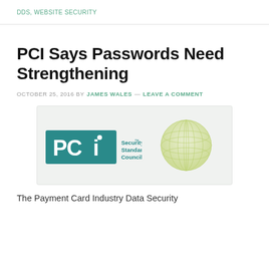DDS, WEBSITE SECURITY
PCI Says Passwords Need Strengthening
OCTOBER 25, 2016 BY JAMES WALES — LEAVE A COMMENT
[Figure (logo): PCI Security Standards Council logo: teal PCI badge overlapping a yellow-green globe illustration]
The Payment Card Industry Data Security